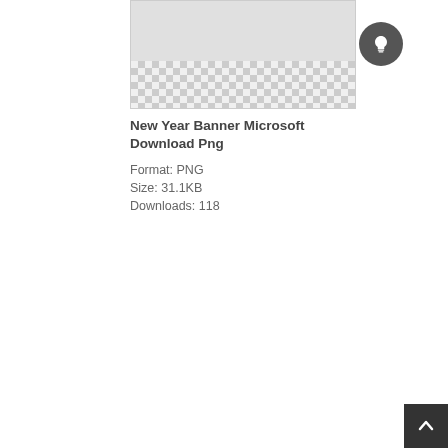[Figure (screenshot): Thumbnail image showing a PNG file preview with a grey solid top portion and a checkered transparency pattern on the bottom portion, indicating a transparent PNG image.]
New Year Banner Microsoft Download Png
Format: PNG
Size: 31.1KB
Downloads: 118